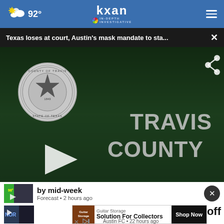92° KXAN IN-DEPTH INVESTIGATIVE
Texas loses at court, Austin's mask mandate to sta...
[Figure (screenshot): Travis County building sign with county seal on green grass background, with play button overlay]
by mid-week
Forecast • 2 hours ago
yoff
Guitar Storage Solution For Collectors Shop Now
Austin FC • 22 hours ago